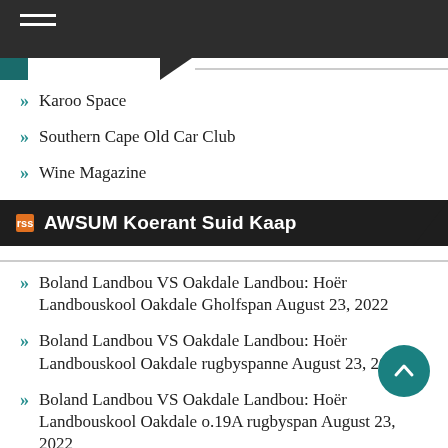Navigation header bar
Karoo Space
Southern Cape Old Car Club
Wine Magazine
AWSUM Koerant Suid Kaap
Boland Landbou VS Oakdale Landbou: Hoër Landbouskool Oakdale Gholfspan August 23, 2022
Boland Landbou VS Oakdale Landbou: Hoër Landbouskool Oakdale rugbyspanne August 23, 2022
Boland Landbou VS Oakdale Landbou: Hoër Landbouskool Oakdale o.19A rugbyspan August 23, 2022